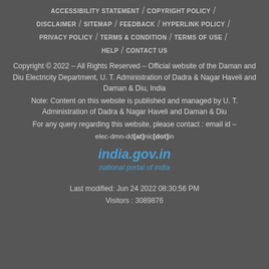ACCESSIBILITY STATEMENT / COPYRIGHT POLICY /
DISCLAIMER / SITEMAP / FEEDBACK / HYPERLINK POLICY /
PRIVACY POLICY / TERMS & CONDITION / TERMS OF USE /
HELP / CONTACT US
Copyright © 2022 – All Rights Reserved – Official website of the Daman and Diu Electricity Department, U. T. Administration of Dadra & Nagar Haveli and Daman & Diu, India
Note: Content on this website is published and managed by U. T. Administration of Dadra & Nagar Haveli and Daman & Diu
For any query regarding this website, please contact : email id – elec-dmn-dd[at]nic[dot]in
[Figure (logo): india.gov.in national portal of india logo]
Last modified: Jun 24 2022 08:30:56 PM
Visitors : 3089876